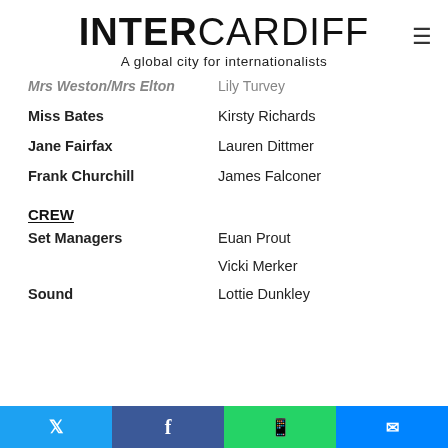INTERCARDIFF – A global city for internationalists
Mrs Weston/Mrs Elton – Lily Turvey
Miss Bates – Kirsty Richards
Jane Fairfax – Lauren Dittmer
Frank Churchill – James Falconer
CREW
Set Managers – Euan Prout
Set Managers – Vicki Merker
Sound – Lottie Dunkley